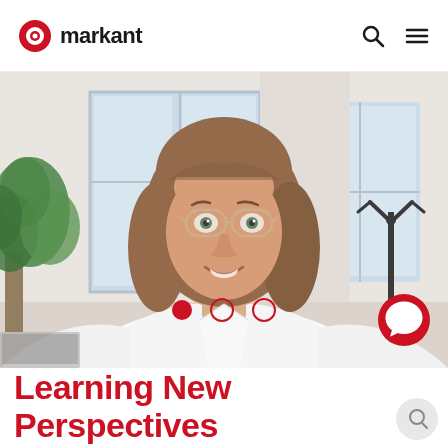[Figure (logo): Markant logo: red circle-eye icon followed by the word 'markant' in dark text]
[Figure (photo): A smiling young woman with glasses and shoulder-length brown hair, wearing a white blouse, in a bright office environment with plants and windows in the background. Three carousel navigation dots overlay the bottom of the photo. A red chat button is visible at lower right.]
Learning New Perspectives